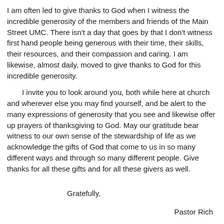I am often led to give thanks to God when I witness the incredible generosity of the members and friends of the Main Street UMC.  There isn't a day that goes by that I don't witness first hand people being generous with their time, their skills, their resources, and their compassion and caring.  I am likewise, almost daily, moved to give thanks to God for this incredible generosity.
I invite you to look around you, both while here at church and wherever else you may find yourself, and be alert to the many expressions of generosity that you see and likewise offer up prayers of thanksgiving to God.  May our gratitude bear witness to our own sense of the stewardship of life as we acknowledge the gifts of God that come to us in so many different ways and through so many different people.  Give thanks for all these gifts and for all these givers as well.
Gratefully,
Pastor Rich